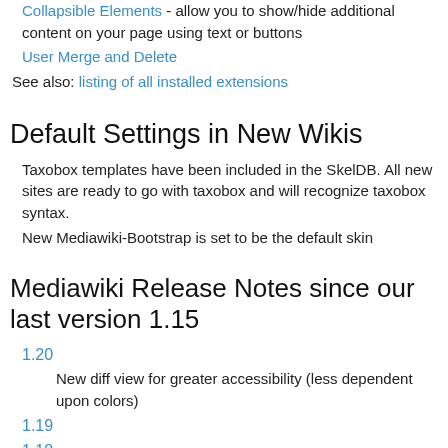Collapsible Elements - allow you to show/hide additional content on your page using text or buttons
User Merge and Delete
See also: listing of all installed extensions
Default Settings in New Wikis
Taxobox templates have been included in the SkelDB. All new sites are ready to go with taxobox and will recognize taxobox syntax.
New Mediawiki-Bootstrap is set to be the default skin
Mediawiki Release Notes since our last version 1.15
1.20
New diff view for greater accessibility (less dependent upon colors)
1.19
1.18
Collapsible Elements added to core
Renameuser — A special page which allows